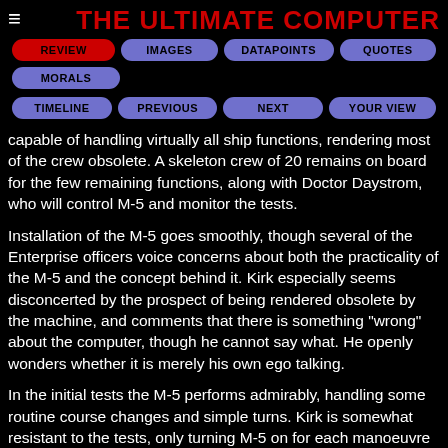THE ULTIMATE COMPUTER
[Figure (screenshot): Navigation button bar with REVIEW (red), IMAGES, DATAPOINTS, QUOTES, MORALS buttons in first/second rows, and TIMELINE, PREVIOUS, NEXT, YOUR VIEW buttons in third row]
capable of handling virtually all ship functions, rendering most of the crew obsolete. A skeleton crew of 20 remains on board for the few remaining functions, along with Doctor Daystrom, who will control M-5 and monitor the tests.
Installation of the M-5 goes smoothly, though several of the Enterprise officers voice concerns about both the practicality of the M-5 and the concept behind it. Kirk especially seems disconcerted by the prospect of being rendered obsolete by the machine, and comments that there is something "wrong" about the computer, though he cannot say what. He openly wonders whether it is merely his own ego talking.
In the initial tests the M-5 performs admirably, handling some routine course changes and simple turns. Kirk is somewhat resistant to the tests, only turning M-5 on for each manoeuvre and then immediately disengaging it afterwards. Spock sides with Daystrom, gratified by the M-5's apparent success.